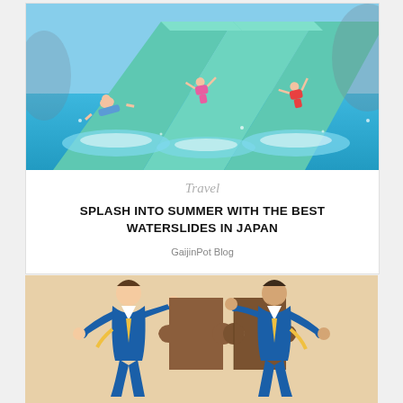[Figure (photo): Aerial view of children sliding down a wide green waterslide into a blue pool at a water park]
Travel
SPLASH INTO SUMMER WITH THE BEST WATERSLIDES IN JAPAN
GaijinPot Blog
[Figure (illustration): Two businessmen in blue suits holding brown puzzle pieces together on a beige/tan background]